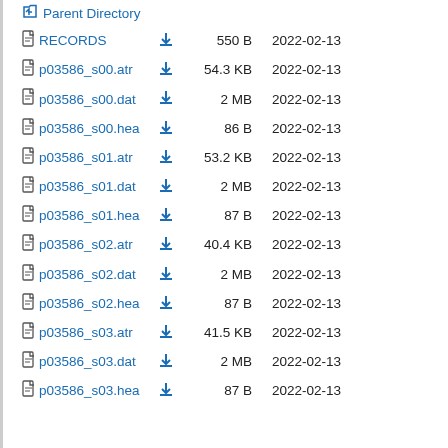Parent Directory
RECORDS   550 B   2022-02-13
p03586_s00.atr   54.3 KB   2022-02-13
p03586_s00.dat   2 MB   2022-02-13
p03586_s00.hea   86 B   2022-02-13
p03586_s01.atr   53.2 KB   2022-02-13
p03586_s01.dat   2 MB   2022-02-13
p03586_s01.hea   87 B   2022-02-13
p03586_s02.atr   40.4 KB   2022-02-13
p03586_s02.dat   2 MB   2022-02-13
p03586_s02.hea   87 B   2022-02-13
p03586_s03.atr   41.5 KB   2022-02-13
p03586_s03.dat   2 MB   2022-02-13
p03586_s03.hea   87 B   2022-02-13